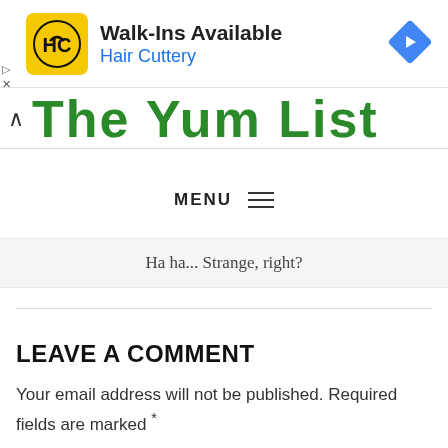[Figure (other): Hair Cuttery advertisement banner with yellow HC logo, text 'Walk-Ins Available' and 'Hair Cuttery' in blue, and a blue navigation arrow icon on the right]
[Figure (logo): Partial website logo reading 'The Yum List' in large bold green text with a caret/arrow icon on the left]
MENU ≡
Ha ha... Strange, right?
LEAVE A COMMENT
Your email address will not be published. Required fields are marked *